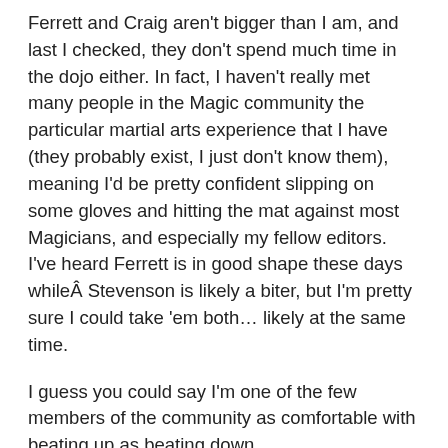Ferrett and Craig aren't bigger than I am, and last I checked, they don't spend much time in the dojo either. In fact, I haven't really met many people in the Magic community the particular martial arts experience that I have (they probably exist, I just don't know them), meaning I'd be pretty confident slipping on some gloves and hitting the mat against most Magicians, and especially my fellow editors. I've heard Ferrett is in good shape these days whileÂ Stevenson is likely a biter, but I'm pretty sure I could take 'em both… likely at the same time.
I guess you could say I'm one of the few members of the community as comfortable with beating up as beating down.
The Ferrett Opinion THE FERRETT: I've never been in a fight.Â  Ever.Â  I've been close to a fair amount of fights, but because I used to be six feet tall, burly, and vaguely threatening-looking, all I had to was thrust my chin up to